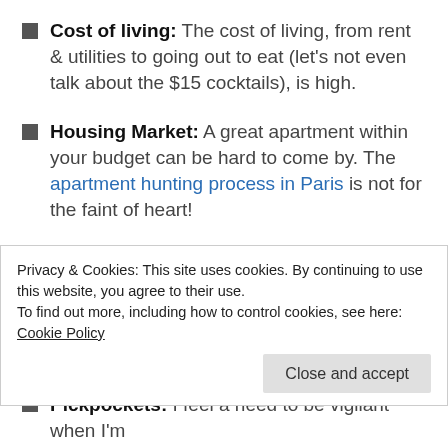Cost of living: The cost of living, from rent & utilities to going out to eat (let's not even talk about the $15 cocktails), is high.
Housing Market: A great apartment within your budget can be hard to come by. The apartment hunting process in Paris is not for the faint of heart!
Parisians: I don't have many Parisian friends. I'm going to give the benefit of the doubt here and say that it can be difficult to meet people from Paris simply because they have already established their
Privacy & Cookies: This site uses cookies. By continuing to use this website, you agree to their use.
To find out more, including how to control cookies, see here: Cookie Policy
Pickpockets: I feel a need to be vigilant when I'm